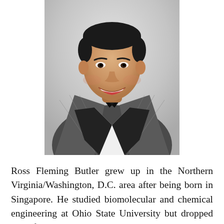[Figure (photo): Photograph of Ross Butler, a young man smiling, wearing a grey plaid tuxedo jacket with black lapels and a black bow tie over a white dress shirt. Background appears to be a white event backdrop.]
Ross Fleming Butler grew up in the Northern Virginia/Washington, D.C. area after being born in Singapore. He studied biomolecular and chemical engineering at Ohio State University but dropped out after a year since he discovered he had no passion or interest in the field. After a buddy purchased him his first acting class for his